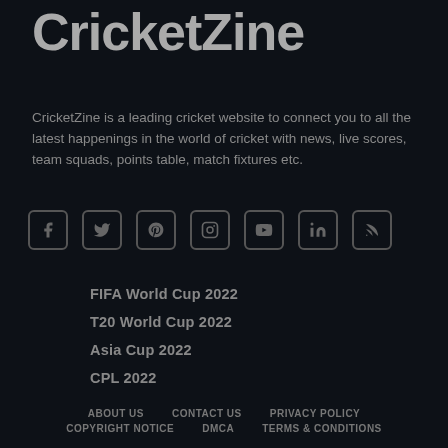CricketZine
CricketZine is a leading cricket website to connect you to all the latest happenings in the world of cricket with news, live scores, team squads, points table, match fixtures etc.
[Figure (illustration): Row of social media icons: Facebook, Twitter, Pinterest, Instagram, YouTube, LinkedIn, RSS]
FIFA World Cup 2022
T20 World Cup 2022
Asia Cup 2022
CPL 2022
ABOUT US   CONTACT US   PRIVACY POLICY   COPYRIGHT NOTICE   DMCA   TERMS & CONDITIONS